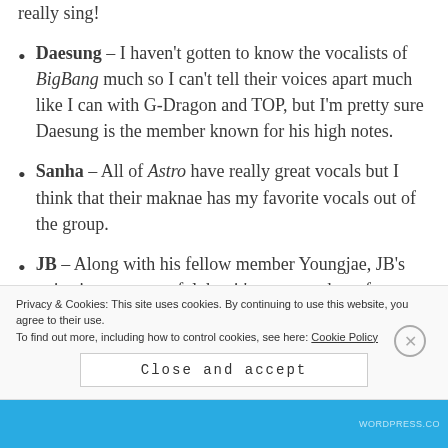really sing!
Daesung – I haven't gotten to know the vocalists of BigBang much so I can't tell their voices apart much like I can with G-Dragon and TOP, but I'm pretty sure Daesung is the member known for his high notes.
Sanha – All of Astro have really great vocals but I think that their maknae has my favorite vocals out of the group.
JB – Along with his fellow member Youngjae, JB's voice is very powerful, but it's more on the softer,
Privacy & Cookies: This site uses cookies. By continuing to use this website, you agree to their use. To find out more, including how to control cookies, see here: Cookie Policy
Close and accept